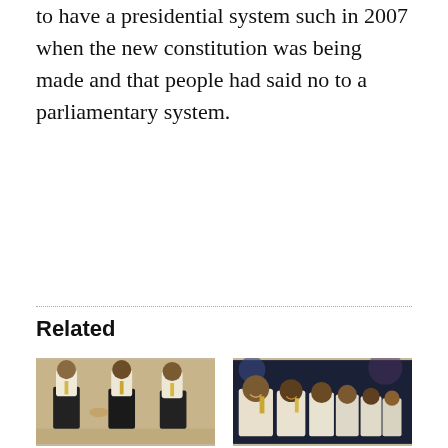to have a presidential system such in 2007 when the new constitution was being made and that people had said no to a parliamentary system.
Related
[Figure (photo): Three men in white shirts and ties standing together, shaking hands, at an indoor event.]
[Figure (photo): Group of men in white shirts seated in rows, smiling and clapping at an event.]
Defeated Nasheed withdraws parliamentary system proposal
Speaker Nasheed puts forward decree for parliamentary system